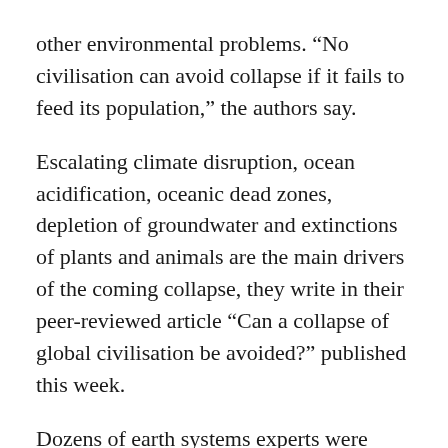other environmental problems. “No civilisation can avoid collapse if it fails to feed its population,” the authors say.
Escalating climate disruption, ocean acidification, oceanic dead zones, depletion of groundwater and extinctions of plants and animals are the main drivers of the coming collapse, they write in their peer-reviewed article “Can a collapse of global civilisation be avoided?” published this week.
Dozens of earth systems experts were consulted in writing the 10-page paper that contains over 160 references.
“We talked to many of the world’s leading